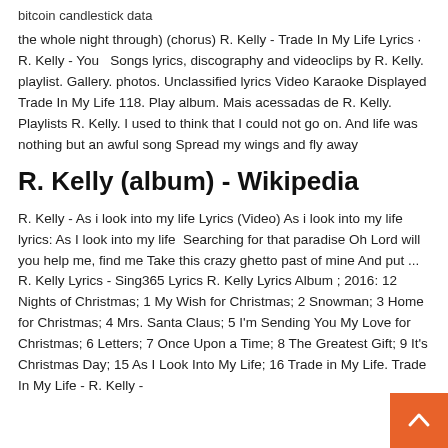bitcoin candlestick data
the whole night through) (chorus) R. Kelly - Trade In My Life Lyrics · R. Kelly - You   Songs lyrics, discography and videoclips by R. Kelly. playlist. Gallery. photos. Unclassified lyrics Video Karaoke Displayed Trade In My Life 118. Play album. Mais acessadas de R. Kelly. Playlists R. Kelly. I used to think that I could not go on. And life was nothing but an awful song Spread my wings and fly away
R. Kelly (album) - Wikipedia
R. Kelly - As i look into my life Lyrics (Video) As i look into my life lyrics: As I look into my life  Searching for that paradise Oh Lord will you help me, find me Take this crazy ghetto past of mine And put ... R. Kelly Lyrics - Sing365 Lyrics R. Kelly Lyrics Album ; 2016: 12 Nights of Christmas; 1 My Wish for Christmas; 2 Snowman; 3 Home for Christmas; 4 Mrs. Santa Claus; 5 I'm Sending You My Love for Christmas; 6 Letters; 7 Once Upon a Time; 8 The Greatest Gift; 9 It's Christmas Day; 15 As I Look Into My Life; 16 Trade in My Life. Trade In My Life - R. Kelly -